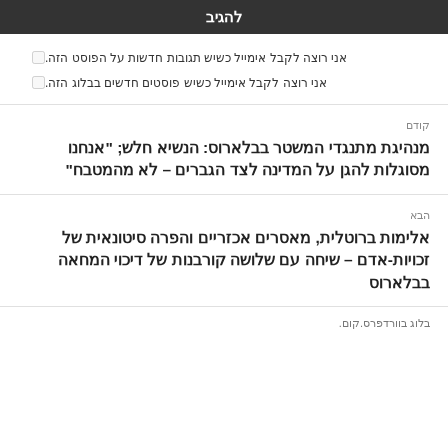להגיב
אני רוצה לקבל אימייל כשיש תגובות חדשות על הפוסט הזה.
אני רוצה לקבל אימייל כשיש פוסטים חדשים בבלוג הזה.
קודם
מנהיגת מתנגדי המשטר בבלארוס: הנשיא חלש; "אנחנו מסוגלות להגן על המדינה לצד הגברים – לא מהמטבח"
הבא
אלימות ברוטלית, מאסרים אכזריים והפרה סיטונאית של זכויות-אדם – שיחה עם שלושה קורבנות של דיכוי המחאה בבלארוס
בלוג בוורדפרס.קום.